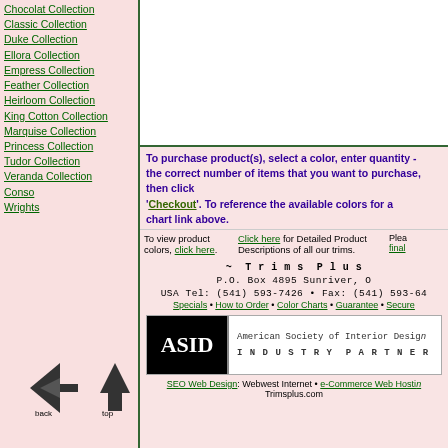Chocolat Collection
Classic Collection
Duke Collection
Ellora Collection
Empress Collection
Feather Collection
Heirloom Collection
King Cotton Collection
Marquise Collection
Princess Collection
Tudor Collection
Veranda Collection
Conso
Wrights
To purchase product(s), select a color, enter quantity - the correct number of items that you want to purchase, then click 'Checkout'. To reference the available colors for a product, use the chart link above.
To view product colors, click here. Click here for Detailed Product Descriptions of all our trims. Please note: final...
~ Trims Plus P.O. Box 4895 Sunriver, O USA Tel: (541) 593-7426 • Fax: (541) 593-64 Specials • How to Order • Color Charts • Guarantee • Secure
[Figure (logo): ASID American Society of Interior Design INDUSTRY PARTNER logo]
SEO Web Design: Webwest Internet • e-Commerce Web Hosting Trimsplus.com
[Figure (illustration): Back and top navigation arrow icons]